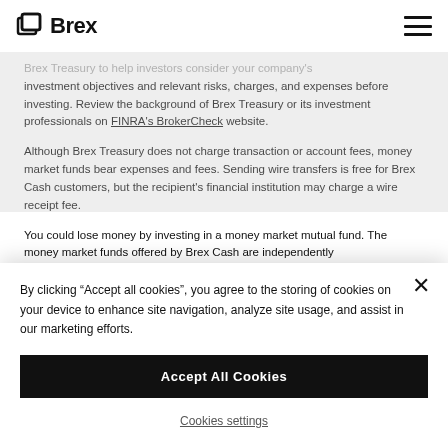Brex
Brex Treasury to help investors consider your company's investment objectives and relevant risks, charges, and expenses before investing. Review the background of Brex Treasury or its investment professionals on FINRA's BrokerCheck website.
Although Brex Treasury does not charge transaction or account fees, money market funds bear expenses and fees. Sending wire transfers is free for Brex Cash customers, but the recipient's financial institution may charge a wire receipt fee.
You could lose money by investing in a money market mutual fund. The money market funds offered by Brex Cash are independently
By clicking “Accept all cookies”, you agree to the storing of cookies on your device to enhance site navigation, analyze site usage, and assist in our marketing efforts.
Accept All Cookies
Cookies settings